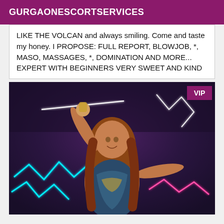GURGAONESCORTSERVICES
LIKE THE VOLCAN and always smiling. Come and taste my honey. I PROPOSE: FULL REPORT, BLOWJOB, *, MASO, MASSAGES, *, DOMINATION AND MORE... EXPERT WITH BEGINNERS VERY SWEET AND KIND
[Figure (photo): Woman with long auburn hair posing with one arm raised in a nightclub-style setting with colorful neon lights (white, cyan, pink). VIP badge in top-right corner of the image.]